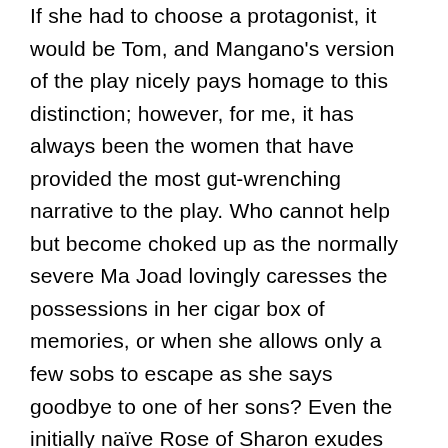If she had to choose a protagonist, it would be Tom, and Mangano's version of the play nicely pays homage to this distinction; however, for me, it has always been the women that have provided the most gut-wrenching narrative to the play. Who cannot help but become choked up as the normally severe Ma Joad lovingly caresses the possessions in her cigar box of memories, or when she allows only a few sobs to escape as she says goodbye to one of her sons? Even the initially naïve Rose of Sharon exudes strength by the close of the play. It is ultimately the women who must nurture an otherwise barren world, and actresses Jillian Cross and Danielle Guidi as the female Joads give impressive performances of strength and femininity.
As for the stage effects and props, the show was not